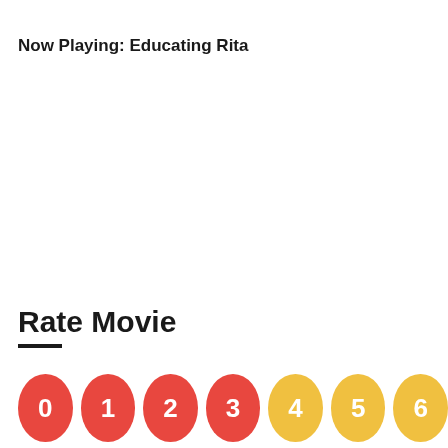Now Playing: Educating Rita
Rate Movie
[Figure (infographic): A row of colored circles numbered 0 through 6 (partially visible), with red circles for lower numbers (0-3) and yellow circles for higher numbers (4-6), used as a movie rating interface.]